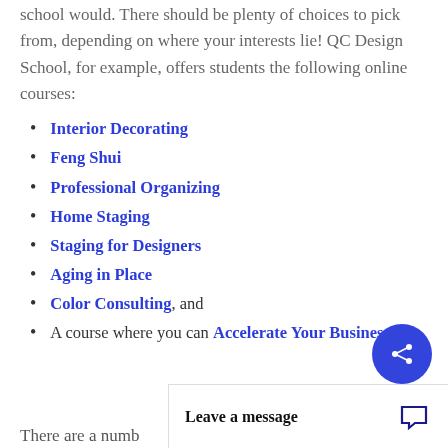school would. There should be plenty of choices to pick from, depending on where your interests lie! QC Design School, for example, offers students the following online courses:
Interior Decorating
Feng Shui
Professional Organizing
Home Staging
Staging for Designers
Aging in Place
Color Consulting, and
A course where you can Accelerate Your Business!
There are a numb